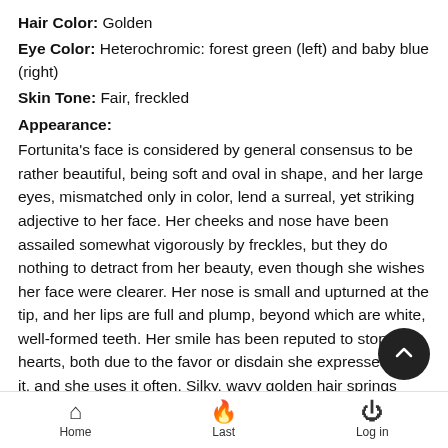Hair Color: Golden
Eye Color: Heterochromic: forest green (left) and baby blue (right)
Skin Tone: Fair, freckled
Appearance:
Fortunita’s face is considered by general consensus to be rather beautiful, being soft and oval in shape, and her large eyes, mismatched only in color, lend a surreal, yet striking adjective to her face. Her cheeks and nose have been assailed somewhat vigorously by freckles, but they do nothing to detract from her beauty, even though she wishes her face were clearer. Her nose is small and upturned at the tip, and her lips are full and plump, beyond which are white, well-formed teeth. Her smile has been reputed to stop hearts, both due to the favor or disdain she expresses with it, and she uses it often. Silky, wavy golden hair springs from her crown and while she used to wear it rathe before, she has shorn it to shoulder level. Nita often leaves i free, but may tie it in a ponytail, or use hair clips and hair bands
Home  Last  Log in